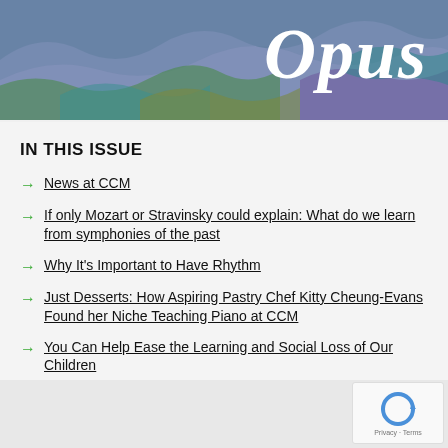[Figure (illustration): Colorful wavy abstract banner with 'Opus' in large white italic text, set against a blue-purple background with colorful wave shapes in green, teal, olive, and purple.]
IN THIS ISSUE
News at CCM
If only Mozart or Stravinsky could explain: What do we learn from symphonies of the past
Why It's Important to Have Rhythm
Just Desserts: How Aspiring Pastry Chef Kitty Cheung-Evans Found her Niche Teaching Piano at CCM
You Can Help Ease the Learning and Social Loss of Our Children